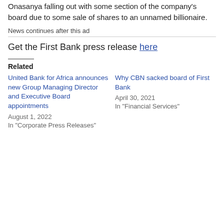Onasanya falling out with some section of the company's board due to some sale of shares to an unnamed billionaire.
News continues after this ad
Get the First Bank press release here
Related
United Bank for Africa announces new Group Managing Director and Executive Board appointments
August 1, 2022
In "Corporate Press Releases"
Why CBN sacked board of First Bank
April 30, 2021
In "Financial Services"